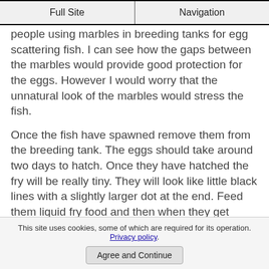Full Site | Navigation
people using marbles in breeding tanks for egg scattering fish. I can see how the gaps between the marbles would provide good protection for the eggs. However I would worry that the unnatural look of the marbles would stress the fish.
Once the fish have spawned remove them from the breeding tank. The eggs should take around two days to hatch. Once they have hatched the fry will be really tiny. They will look like little black lines with a slightly larger dot at the end. Feed them liquid fry food and then when they get bigger feed them crushed flake food.
If you like this site vote fot it @ AquaRank
This site uses cookies, some of which are required for its operation. Privacy policy. Agree and Continue